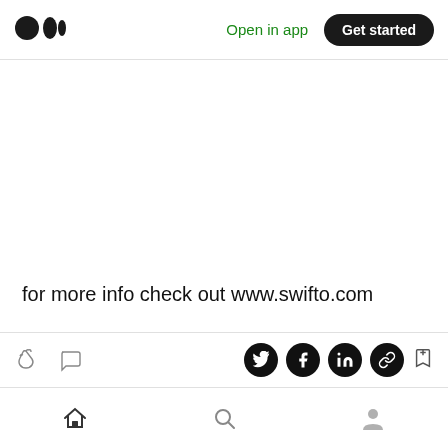[Figure (screenshot): Medium app top navigation bar with logo, Open in app link, and Get started button]
for more info check out www.swifto.com
[Figure (screenshot): Article action bar with clap, comment, Twitter, Facebook, LinkedIn, link share icons, and bookmark button]
[Figure (screenshot): Bottom navigation bar with home, search, and profile icons]